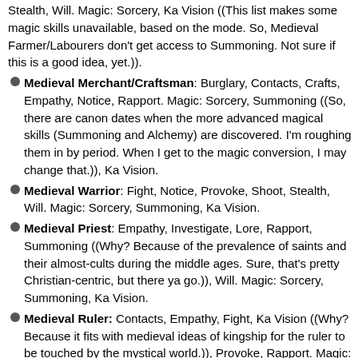Stealth, Will. Magic: Sorcery, Ka Vision ((This list makes some magic skills unavailable, based on the mode. So, Medieval Farmer/Labourers don't get access to Summoning. Not sure if this is a good idea, yet.)).
Medieval Merchant/Craftsman: Burglary, Contacts, Crafts, Empathy, Notice, Rapport. Magic: Sorcery, Summoning ((So, there are canon dates when the more advanced magical skills (Summoning and Alchemy) are discovered. I'm roughing them in by period. When I get to the magic conversion, I may change that.)), Ka Vision.
Medieval Warrior: Fight, Notice, Provoke, Shoot, Stealth, Will. Magic: Sorcery, Summoning, Ka Vision.
Medieval Priest: Empathy, Investigate, Lore, Rapport, Summoning ((Why? Because of the prevalence of saints and their almost-cults during the middle ages. Sure, that's pretty Christian-centric, but there ya go.)), Will. Magic: Sorcery, Summoning, Ka Vision.
Medieval Ruler: Contacts, Empathy, Fight, Ka Vision ((Why? Because it fits with medieval ideas of kingship for the ruler to be touched by the mystical world.)), Provoke, Rapport. Magic: Sorcery, Summoning, Ka Vision.